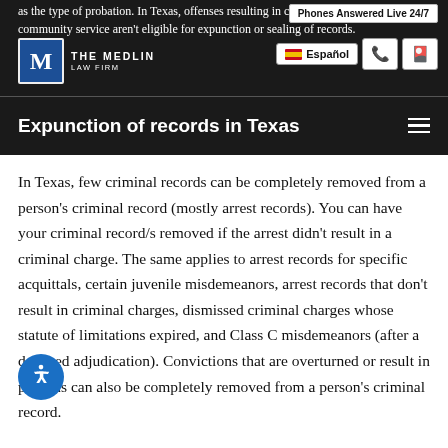as the type of probation. In Texas, offenses resulting in conviction or community service aren't eligible for expunction or sealing of records. Phones Answered Live 24/7 | Español | THE MEDLIN LAW FIRM | Expunction of records in Texas
Expunction of records in Texas
In Texas, few criminal records can be completely removed from a person's criminal record (mostly arrest records). You can have your criminal record/s removed if the arrest didn't result in a criminal charge. The same applies to arrest records for specific acquittals, certain juvenile misdemeanors, arrest records that don't result in criminal charges, dismissed criminal charges whose statute of limitations expired, and Class C misdemeanors (after a deferred adjudication). Convictions that are overturned or result in pardons can also be completely removed from a person's criminal record.